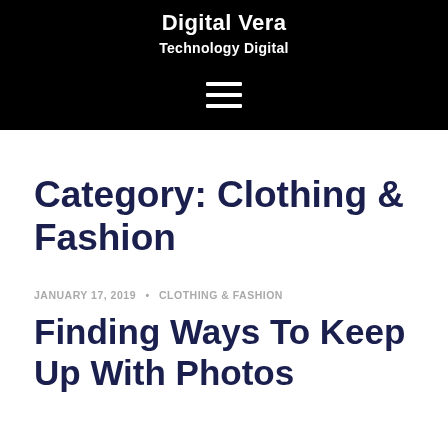Digital Vera
Technology Digital
[Figure (other): Hamburger menu icon (three horizontal white lines on black background)]
Category: Clothing & Fashion
JANUARY 17, 2019 · CLOTHING & FASHION
Finding Ways To Keep Up With Photos